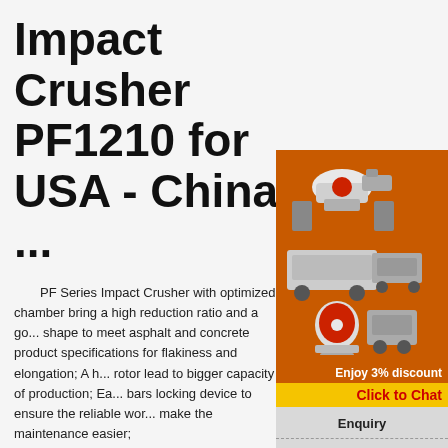Impact Crusher PF1210 for USA - China ...
PF Series Impact Crusher with optimized chamber bring a high reduction ratio and a good shape to meet asphalt and concrete product specifications for flakiness and elongation; A h... rotor lead to bigger capacity of production; Ea... bars locking device to ensure the reliable wor... make the maintenance easier;
[Figure (photo): Industrial crusher machinery equipment photos with orange background, showing three different crusher machines]
Enjoy 3% discount
Click to Chat
Enquiry
limingjlmofen@sina.com
What is High Capacity PF Series Fine Stone Impact Crusher ...